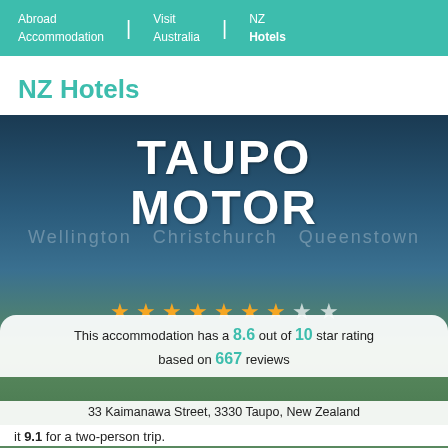Abroad Accommodation | Visit Australia | NZ Hotels
NZ Hotels
[Figure (photo): Taupo Motor hotel photo with stars rating overlay, city navigation watermarks (Wellington, Christchurch, Queenstown), hotel building visible]
This accommodation has a 8.6 out of 10 star rating based on 667 reviews
33 Kaimanawa Street, 3330 Taupo, New Zealand
it 9.1 for a two-person trip.
Taupo